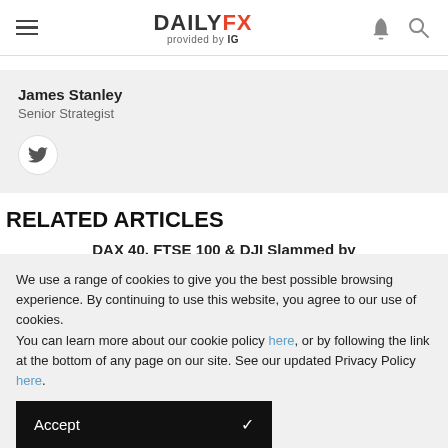DAILYFX provided by IG
James Stanley
Senior Strategist
RELATED ARTICLES
DAX 40, FTSE 100 & DJI Slammed by
We use a range of cookies to give you the best possible browsing experience. By continuing to use this website, you agree to our use of cookies.
You can learn more about our cookie policy here, or by following the link at the bottom of any page on our site. See our updated Privacy Policy here.
Accept